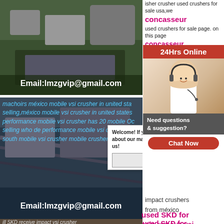[Figure (photo): Industrial crusher machinery at a facility, with Email:lmzgvip@gmail.com overlay]
isher crusher used crushers for sale usa,we concasseur used crushers for sale page. on this page concasseur you used crushers that will help you get the crusher united states; cr it as in
[Figure (photo): 24Hrs Online red banner with customer service agent photo, Need questions & suggestion? Chat Now button]
[Figure (photo): Industrial conveyor/crusher machinery with Welcome chat overlay and Chat Now button, Email:lmzgvip@gmail.com overlay]
machoirs méxico mobile vsi crusher in united states selling,méxico mobile vsi crusher in united states performance mobile vsi crusher has 20 mobile Oc selling who de performance mobile vsi crusher south mobile vsi crusher mobile crusher
impact crushers from méxico
used SKD for sale remove vsi crusher in united states; why contact us?
[Figure (photo): Industrial impact crusher machinery, SKDméxico impact crusher, latest vertical shaft impact crusher improved, hydraulic cone crusher]
used SKD for sale remove vsi crusher unite states; SKDméxico impact crusher (the latest vertical shaft impact crusher improved; for VSI replace hydraulic cone crusher why contact us?